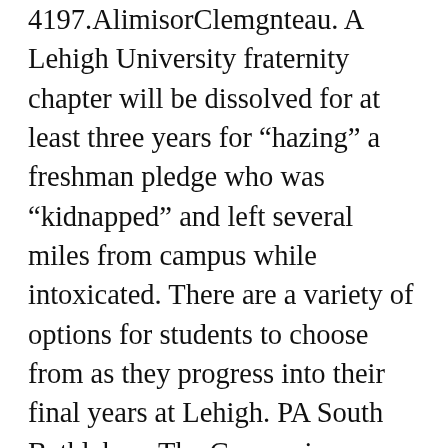4197.AlimisorClemgnteau. A Lehigh University fraternity chapter will be dissolved for at least three years for “hazing” a freshman pledge who was “kidnapped” and left several miles from campus while intoxicated. There are a variety of options for students to choose from as they progress into their final years at Lehigh. PA South Bethlehem The Gymnasium Lehigh University UDB Pennsylvania Postcard M5. … Emily Cooper, ‘22, planned on living in a triple in the Alpha Phi house before Lehigh said it couldn’t guarantee everyone would be